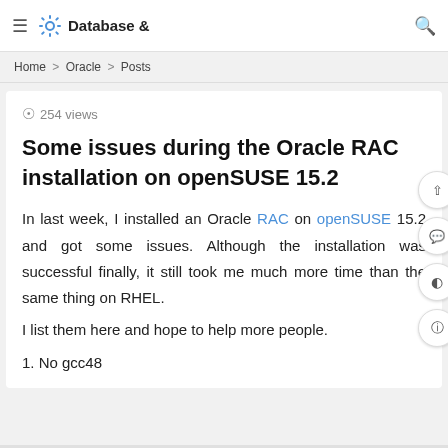≡ 🔧 Database & 🔍
Home > Oracle > Posts
254 views
Some issues during the Oracle RAC installation on openSUSE 15.2
In last week, I installed an Oracle RAC on openSUSE 15.2 and got some issues. Although the installation was successful finally, it still took me much more time than the same thing on RHEL.
I list them here and hope to help more people.
1. No gcc48